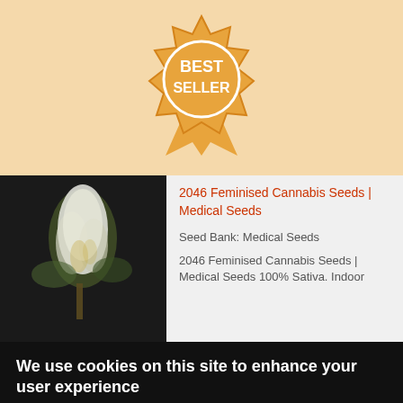[Figure (illustration): Best Seller badge/ribbon award icon in orange/gold color on a peach background]
[Figure (photo): Close-up photo of cannabis plant with dense white flowers/buds against dark background]
2046 Feminised Cannabis Seeds | Medical Seeds
Seed Bank: Medical Seeds
2046 Feminised Cannabis Seeds | Medical Seeds 100% Sativa. Indoor
We use cookies on this site to enhance your user experience
By clicking any link on this page you are giving your consent for us to set cookies. No, give me more info
OK, I agree
No, thanks